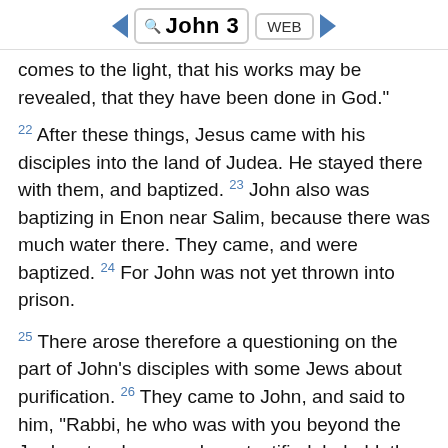John 3 WEB
comes to the light, that his works may be revealed, that they have been done in God."
22 After these things, Jesus came with his disciples into the land of Judea. He stayed there with them, and baptized. 23 John also was baptizing in Enon near Salim, because there was much water there. They came, and were baptized. 24 For John was not yet thrown into prison.
25 There arose therefore a questioning on the part of John's disciples with some Jews about purification. 26 They came to John, and said to him, "Rabbi, he who was with you beyond the Jordan, to whom you have testified, behold, the same baptizes, and everyone is coming to him."
27 John answered, "A man can receive nothing, unless it be given him from heaven. 28 You yourselves...